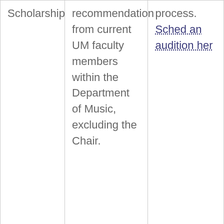| Scholarship | Criteria | How to Apply |
| --- | --- | --- |
| Scholarship | recommendation from current UM faculty members within the Department of Music, excluding the Chair. | process. Schedule an audition here |
| Elizabeth Frances Young Piano Fund | Given to a senior on honors day. Music major specializing in Piano. Minimum 2.3 GPA. Proficient in performance and pedagogy. High moral standards. To be selected by one | Auditions are a mandatory part of the scholarship application process. Sched an audition her |